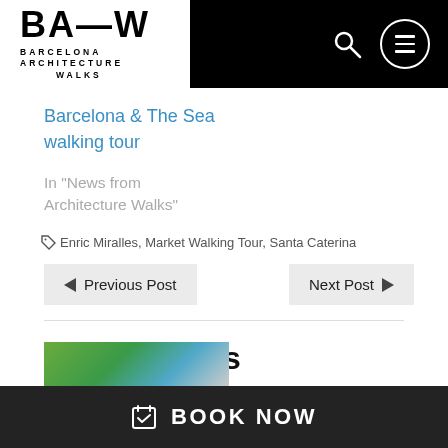BA—W BARCELONA ARCHITECTURE WALKS
Barcelona & The Sea walking tour
In "News from Architecture Walks"
Enric Miralles, Market Walking Tour, Santa Caterina
Previous Post
Next Post
Similar Posts
BOOK NOW